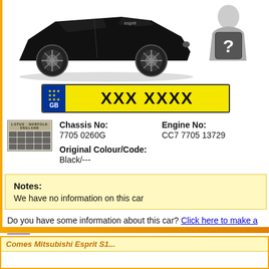[Figure (illustration): Black Lotus Esprit S1 sports car illustration (side view), and a person with question mark icon]
[Figure (illustration): UK number plate showing XXX XXXX with GB flag and EU stars]
[Figure (illustration): Lotus vehicle identification plate/badge]
Chassis No:
7705 0260G
Engine No:
CC7 7705 13729
Original Colour/Code:
Black/---
Notes:
We have no information on this car
Do you have some information about this car? Click here to make a comm